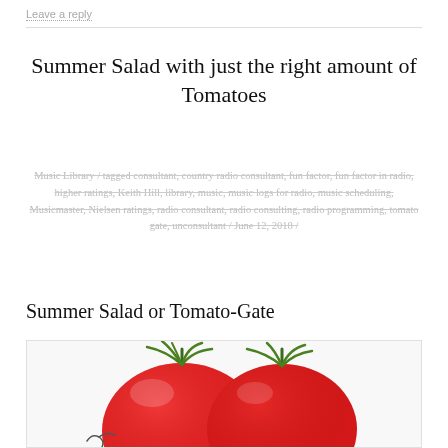Leave a reply
Summer Salad with just the right amount of Tomatoes
Music Library / tagged consultant, country radio consultant, fun factor, fun factor in radio, higher ratings, Keith Hill, library, music, music logs for radio, music scheduling, Musicmaster, Nielsen ratings, radio consultant, radio consulting, radio programming, tomato gate, unconsultant / June 12, 2018 /
Summer Salad or Tomato-Gate
[Figure (photo): Photo of two red tomatoes with green stems on a light background]